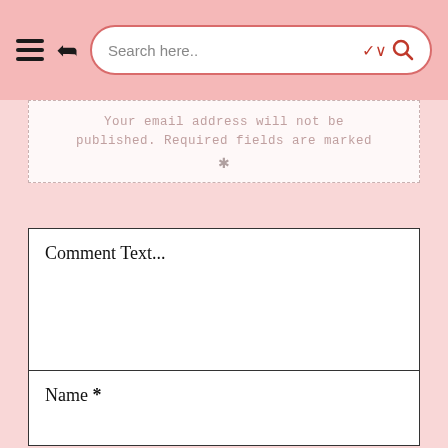Search here..
Your email address will not be published. Required fields are marked *
Comment Text...
Name *